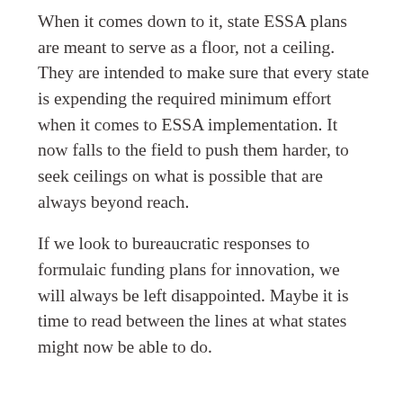When it comes down to it, state ESSA plans are meant to serve as a floor, not a ceiling. They are intended to make sure that every state is expending the required minimum effort when it comes to ESSA implementation. It now falls to the field to push them harder, to seek ceilings on what is possible that are always beyond reach.
If we look to bureaucratic responses to formulaic funding plans for innovation, we will always be left disappointed. Maybe it is time to read between the lines at what states might now be able to do.